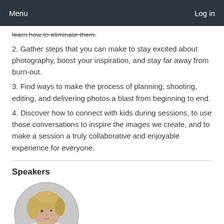Menu    Log in
learn how to eliminate them.
2. Gather steps that you can make to stay excited about photography, boost your inspiration, and stay far away from burn-out.
3. Find ways to make the process of planning, shooting, editing, and delivering photos a blast from beginning to end.
4. Discover how to connect with kids during sessions, to use those conversations to inspire the images we create, and to make a session a truly collaborative and enjoyable experience for everyone.
Speakers
[Figure (photo): Circular headshot of a woman with wavy blonde hair wearing a black and white patterned top, photographed against a light grey background.]